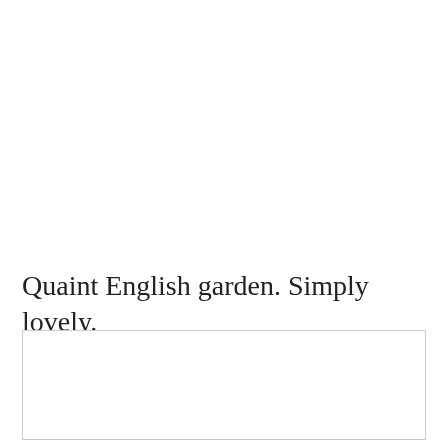Quaint English garden. Simply lovely.
[Figure (other): Empty white box with a light border, likely a placeholder for an image.]